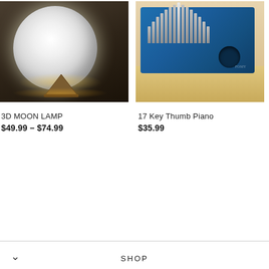[Figure (photo): 3D Moon Lamp product photo — a glowing spherical white moon lamp on a wooden stand, photographed against a dark stone background]
3D MOON LAMP
$49.99 – $74.99
[Figure (photo): 17 Key Thumb Piano (Kalimba) product photo — a blue wooden kalimba with metal tines, shown on top of a cardboard box]
17 Key Thumb Piano
$35.99
SHOP